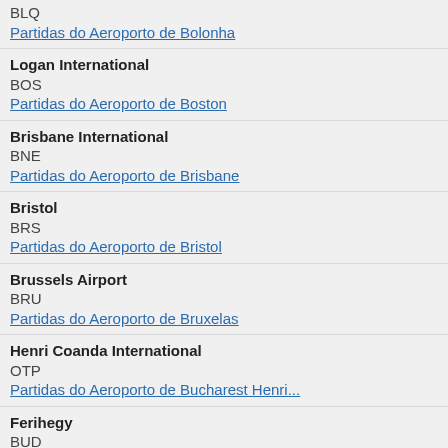BLQ
Partidas do Aeroporto de Bolonha
Logan International
BOS
Partidas do Aeroporto de Boston
Brisbane International
BNE
Partidas do Aeroporto de Brisbane
Bristol
BRS
Partidas do Aeroporto de Bristol
Brussels Airport
BRU
Partidas do Aeroporto de Bruxelas
Henri Coanda International
OTP
Partidas do Aeroporto de Bucharest Henri...
Ferihegy
BUD
Partidas do Aeroporto de Budapeste
Cairo International